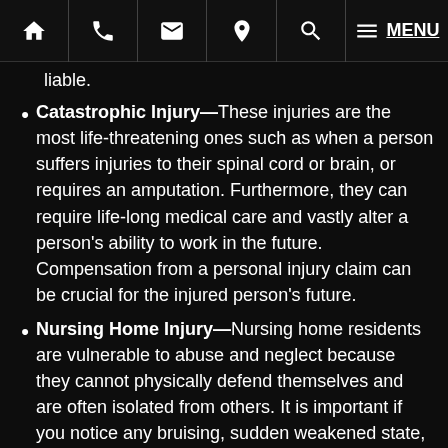Home | Phone | Email | Location | Search | Menu
liable.
Catastrophic Injury—These injuries are the most life-threatening ones such as when a person suffers injuries to their spinal cord or brain, or requires an amputation. Furthermore, they can require life-long medical care and vastly alter a person's ability to work in the future. Compensation from a personal injury claim can be crucial for the injured person's future.
Nursing Home Injury—Nursing home residents are vulnerable to abuse and neglect because they cannot physically defend themselves and are often isolated from others. It is important if you notice any bruising, sudden weakened state, or emotional distress in a family member that you speak to a skilled attorney who can help you investigate further.
Defective Products—A defective product can cause